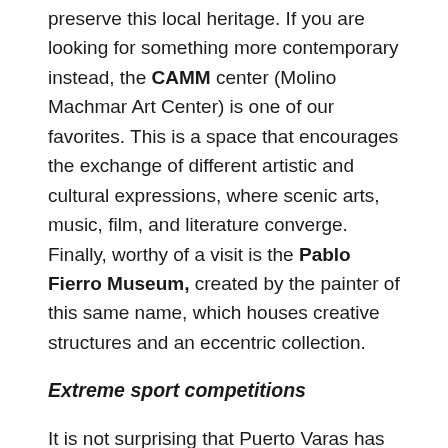preserve this local heritage. If you are looking for something more contemporary instead, the CAMM center (Molino Machmar Art Center) is one of our favorites. This is a space that encourages the exchange of different artistic and cultural expressions, where scenic arts, music, film, and literature converge. Finally, worthy of a visit is the Pablo Fierro Museum, created by the painter of this same name, which houses creative structures and an eccentric collection.
Extreme sport competitions
It is not surprising that Puerto Varas has positioned itself as a regional destination for sports and adventure, with a wide variety of competitions taking place throughout the year